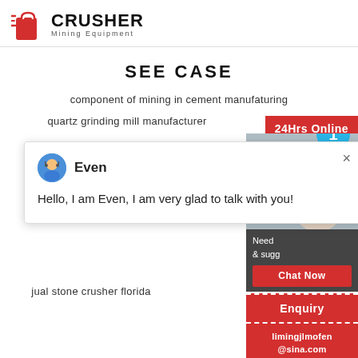[Figure (logo): Crusher Mining Equipment logo with red shopping bag icon and bold CRUSHER text]
SEE CASE
component of mining in cement manufaturing
quartz grinding mill manufacturer
[Figure (screenshot): Chat popup with avatar of Even saying: Hello, I am Even, I am very glad to talk with you!]
jual stone crusher florida
[Figure (infographic): Right sidebar with 24Hrs Online red bar, customer service photo, Need & suggestions section with badge showing 1, Chat Now button, Enquiry section, and limingjlmofen@sina.com email]